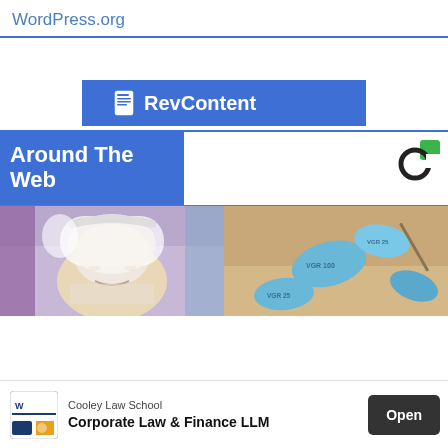WordPress.org
[Figure (logo): RevContent banner with document icon]
Around The Web
[Figure (logo): Sponsored content logo (C with green square)]
[Figure (photo): Woman with white towel on head, cream on face]
[Figure (photo): Blue pills (VGR 100, VGR 25) with brush]
Cooley Law School
Corporate Law & Finance LLM
Open